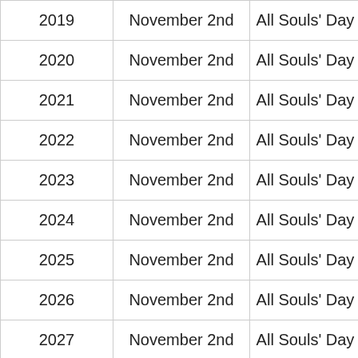| 2019 | November 2nd | All Souls' Day |
| 2020 | November 2nd | All Souls' Day |
| 2021 | November 2nd | All Souls' Day |
| 2022 | November 2nd | All Souls' Day |
| 2023 | November 2nd | All Souls' Day |
| 2024 | November 2nd | All Souls' Day |
| 2025 | November 2nd | All Souls' Day |
| 2026 | November 2nd | All Souls' Day |
| 2027 | November 2nd | All Souls' Day |